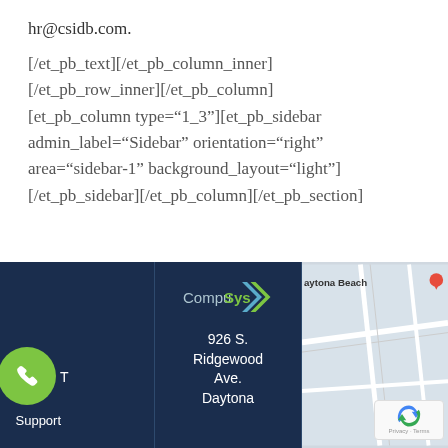hr@csidb.com.
[/et_pb_text][/et_pb_column_inner] [/et_pb_row_inner][/et_pb_column] [et_pb_column type="1_3"][et_pb_sidebar admin_label="Sidebar" orientation="right" area="sidebar-1" background_layout="light"] [/et_pb_sidebar][/et_pb_column][/et_pb_section]
[Figure (logo): CompuSys logo with stylized arrow chevron in green]
926 S. Ridgewood Ave. Daytona
[Figure (photo): Google Maps partial view showing Daytona Beach area with reCAPTCHA widget]
T Support